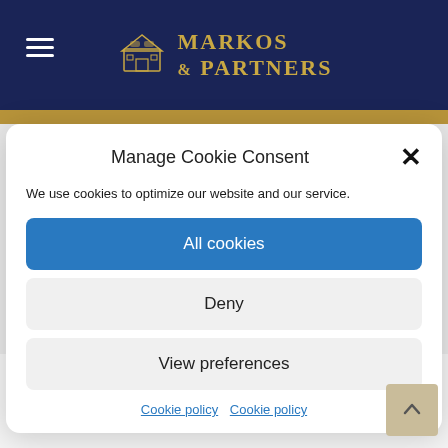MARKOS & PARTNERS
Manage Cookie Consent
We use cookies to optimize our website and our service.
All cookies
Deny
View preferences
Cookie policy  Cookie policy
2. DATA COLLECTED
DATA STORAGE LOCATION